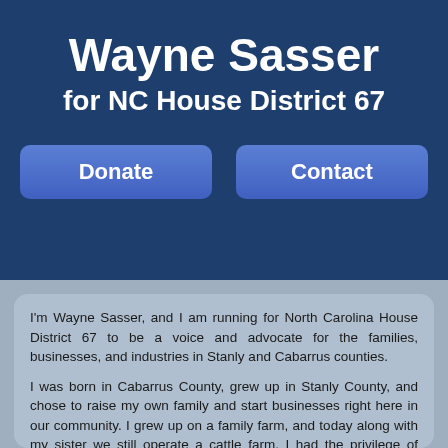Wayne Sasser
for NC House District 67
[Figure (other): Two buttons labeled 'Donate' and 'Contact' on dark blue background]
I'm Wayne Sasser, and I am running for North Carolina House District 67 to be a voice and advocate for the families, businesses, and industries in Stanly and Cabarrus counties.
I was born in Cabarrus County, grew up in Stanly County, and chose to raise my own family and start businesses right here in our community. I grew up on a family farm, and today along with my sister we still operate a cattle farm. I had the privilege of graduating from pharmacy school at UNC-Chapel Hill, and since then as a registered pharmacist I've managed drugstores across our community for 40 years.
For me, service doesn't require a title or elected office. The only requirement is a passion and love of community and people. It's why I've enjoyed giving back through the